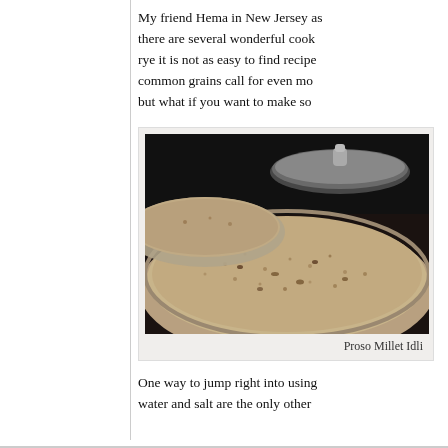My friend Hema in New Jersey as there are several wonderful cook rye it is not as easy to find recipe common grains call for even mo but what if you want to make so
[Figure (photo): Photo of Proso Millet Idli in metal steaming trays, showing round steamed cakes with a grainy texture]
Proso Millet Idli
One way to jump right into using water and salt are the only other